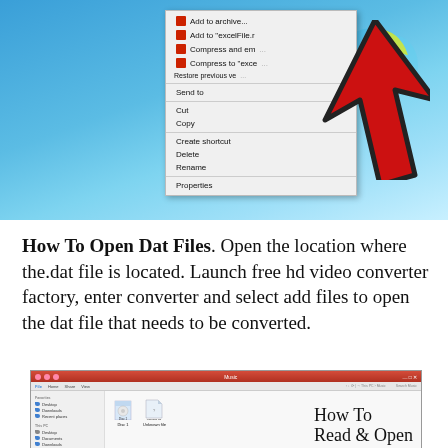[Figure (screenshot): Windows 7 desktop screenshot showing a right-click context menu with options including Add to archive, Add to excelFile, Compress and email, Compress to excel, Restore previous versions, Send to, Cut, Copy, Create shortcut, Delete, Rename, Properties. A large red arrow cursor points to the menu. Windows 7 globe logo visible in top right.]
How To Open Dat Files. Open the location where the.dat file is located. Launch free hd video converter factory, enter converter and select add files to open the dat file that needs to be converted.
[Figure (screenshot): Windows Explorer window showing Music folder with two file icons and large text overlay reading 'How To Read & Open']